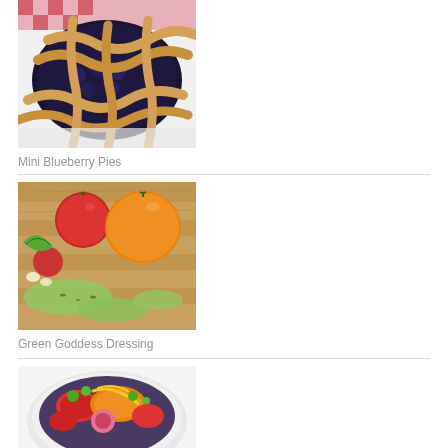[Figure (photo): Mini blueberry pies with lattice crust on a white dish, dark blueberry filling visible, pink checkered background]
Mini Blueberry Pies
[Figure (photo): Green goddess dressing drizzled on a wooden board with colorful heirloom tomatoes including red and yellow/orange varieties]
Green Goddess Dressing
[Figure (photo): Colorful salad with tomatoes, greens, and garnishes on a plate, partially visible]